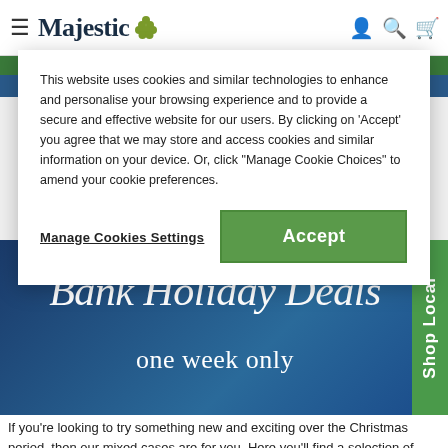Majestic
This website uses cookies and similar technologies to enhance and personalise your browsing experience and to provide a secure and effective website for our users. By clicking on 'Accept' you agree that we may store and access cookies and similar information on your device. Or, click "Manage Cookie Choices" to amend your cookie preferences.
Manage Cookies Settings
Accept
[Figure (screenshot): Bank Holiday Deals one week only promotional banner with blue gradient background]
If you're looking to try something new and exciting over the Christmas period, then our mixed cases are for you. Here you'll find a selection of wine cases for between £80 and £100. We